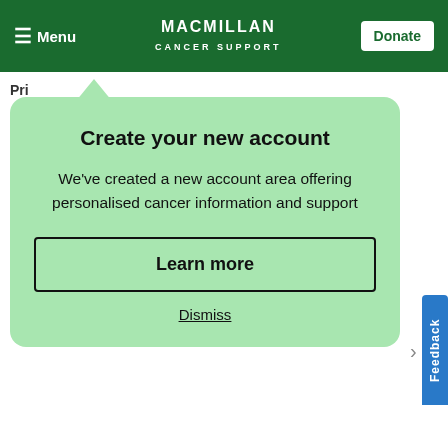Menu | MACMILLAN CANCER SUPPORT | Donate
Pri...
Create your new account
We've created a new account area offering personalised cancer information and support
Learn more
Dismiss
ntial support to
nes. If you nee
Feedback
0808 808 00 00
Every day 8am - 8pm
Chat
Email us >
Get in touch via this form.